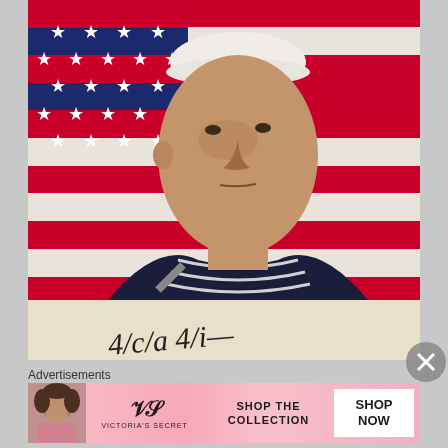[Figure (illustration): Vintage WWII-era illustration of a US Navy sailor in uniform with white cap, looking upward heroically, with an American flag (stars and red/white stripes) in the background. Below the illustration is a handwritten signature or text in cursive script.]
Advertisements
[Figure (photo): Victoria's Secret advertisement banner. Shows a model on the left, the VS logo and 'Victoria's Secret' text in the center, 'SHOP THE COLLECTION' text, and a white button saying 'SHOP NOW'. Pink gradient background.]